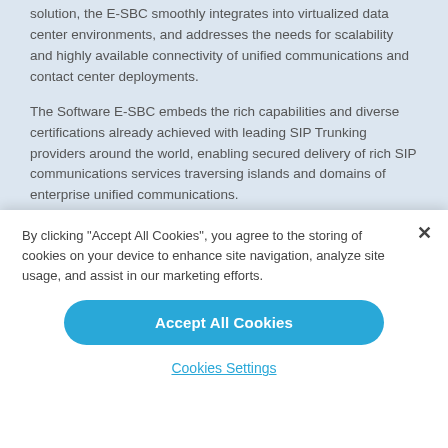solution, the E-SBC smoothly integrates into virtualized data center environments, and addresses the needs for scalability and highly available connectivity of unified communications and contact center deployments.
The Software E-SBC embeds the rich capabilities and diverse certifications already achieved with leading SIP Trunking providers around the world, enabling secured delivery of rich SIP communications services traversing islands and domains of enterprise unified communications.
"We are pleased to announce this new addition to our Mediant family of Enterprise Session Border Controllers that complements our network
By clicking "Accept All Cookies", you agree to the storing of cookies on your device to enhance site navigation, analyze site usage, and assist in our marketing efforts.
Accept All Cookies
Cookies Settings